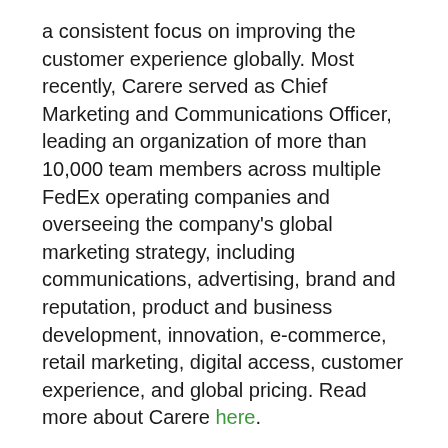a consistent focus on improving the customer experience globally. Most recently, Carere served as Chief Marketing and Communications Officer, leading an organization of more than 10,000 team members across multiple FedEx operating companies and overseeing the company's global marketing strategy, including communications, advertising, brand and reputation, product and business development, innovation, e-commerce, retail marketing, digital access, customer experience, and global pricing. Read more about Carere here.
More on tennsun.com
Live Courageously Podcast Show with John Duffy With Guest Kevin Sorbo
Blue Heart Records signs Dave Keyes